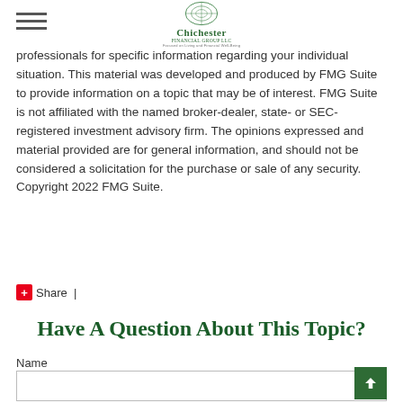Chichester Financial Group LLC — Focused on Living and Financial Well-Being
professionals for specific information regarding your individual situation. This material was developed and produced by FMG Suite to provide information on a topic that may be of interest. FMG Suite is not affiliated with the named broker-dealer, state- or SEC-registered investment advisory firm. The opinions expressed and material provided are for general information, and should not be considered a solicitation for the purchase or sale of any security. Copyright 2022 FMG Suite.
Share |
Have A Question About This Topic?
Name